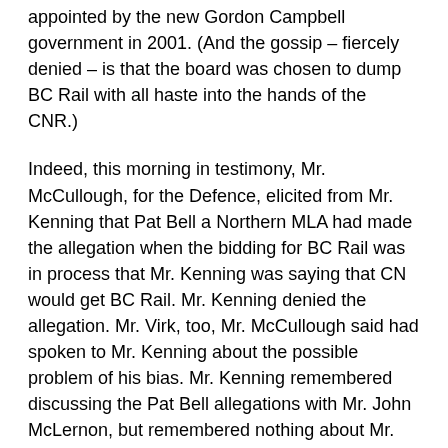appointed by the new Gordon Campbell government in 2001.  (And the gossip – fiercely denied – is that the board was chosen to dump BC Rail with all haste into the hands of the CNR.)
Indeed, this morning in testimony, Mr. McCullough, for the Defence, elicited from Mr. Kenning that Pat Bell a Northern MLA had made the allegation when the bidding for BC Rail was in process that Mr. Kenning was saying that CN would get BC Rail. Mr. Kenning denied the allegation.  Mr. Virk, too, Mr. McCullough said had spoken to Mr. Kenning about the possible problem of his bias.  Mr. Kenning remembered discussing the Pat Bell allegations with Mr. John McLernon, but remembered nothing about Mr. Virk.
Mr. McCullough asked why Mr. Kenning took so long to come round to remembering the Pat Bell event.  Such a question might be asked frequently.
Mr. Kenning, as I have written already, forgets a great deal.
It is possible, sitting in the court, to become absorbed in close details – like the revelation that many, many people